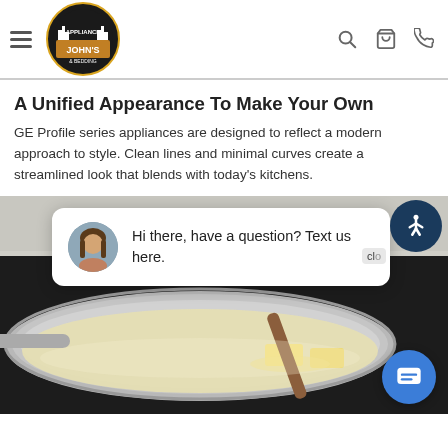Appliance John's & Bedding — navigation header with logo, hamburger menu, search, cart, and phone icons
A Unified Appearance To Make Your Own
GE Profile series appliances are designed to reflect a modern approach to style. Clean lines and minimal curves create a streamlined look that blends with today's kitchens.
[Figure (photo): A stainless steel frying pan with melting butter pats on a stovetop burner, with a wooden spoon. A live chat popup overlay shows a woman avatar and text 'Hi there, have a question? Text us here.' An accessibility icon button and a blue chat FAB button are also overlaid.]